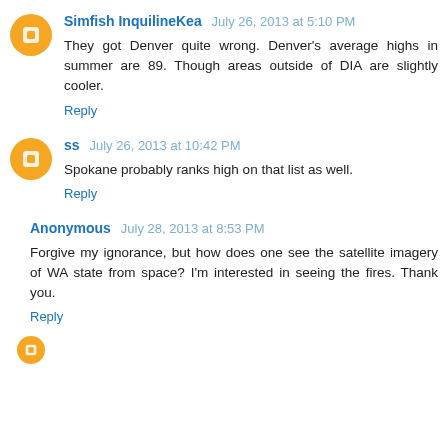Simfish InquilineKea  July 26, 2013 at 5:10 PM
They got Denver quite wrong. Denver's average highs in summer are 89. Though areas outside of DIA are slightly cooler.
Reply
ss  July 26, 2013 at 10:42 PM
Spokane probably ranks high on that list as well.
Reply
Anonymous  July 28, 2013 at 8:53 PM
Forgive my ignorance, but how does one see the satellite imagery of WA state from space? I'm interested in seeing the fires. Thank you.
Reply